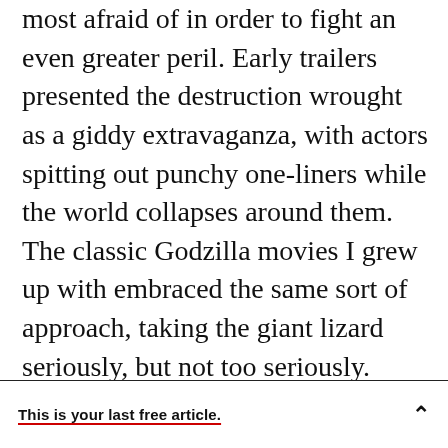most afraid of in order to fight an even greater peril. Early trailers presented the destruction wrought as a giddy extravaganza, with actors spitting out punchy one-liners while the world collapses around them. The classic Godzilla movies I grew up with embraced the same sort of approach, taking the giant lizard seriously, but not too seriously.
This is your last free article.